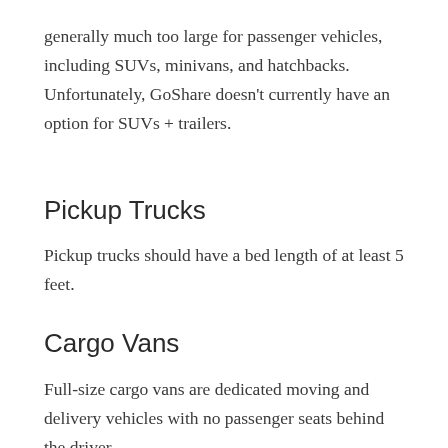generally much too large for passenger vehicles, including SUVs, minivans, and hatchbacks. Unfortunately, GoShare doesn't currently have an option for SUVs + trailers.
Pickup Trucks
Pickup trucks should have a bed length of at least 5 feet.
Cargo Vans
Full-size cargo vans are dedicated moving and delivery vehicles with no passenger seats behind the driver